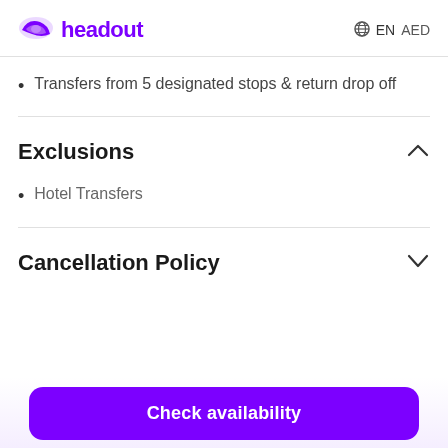headout  EN  AED
Transfers from 5 designated stops & return drop off
Exclusions
Hotel Transfers
Cancellation Policy
Check availability